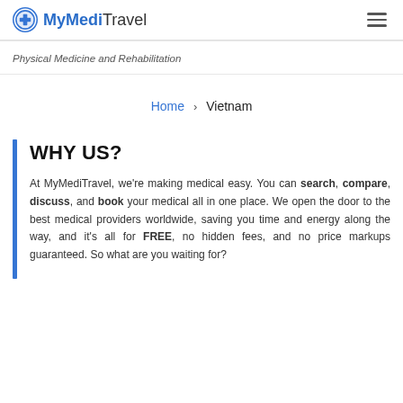MyMediTravel
Physical Medicine and Rehabilitation
Home > Vietnam
WHY US?
At MyMediTravel, we're making medical easy. You can search, compare, discuss, and book your medical all in one place. We open the door to the best medical providers worldwide, saving you time and energy along the way, and it's all for FREE, no hidden fees, and no price markups guaranteed. So what are you waiting for?